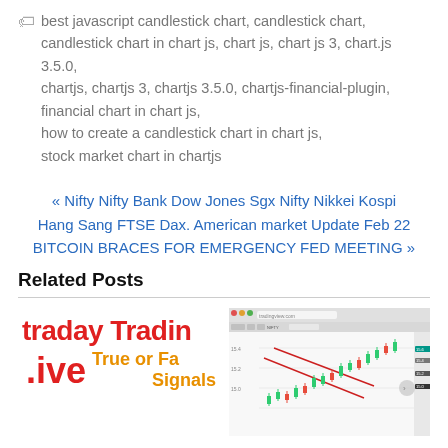best javascript candlestick chart, candlestick chart, candlestick chart in chart js, chart js, chart js 3, chart.js 3.5.0, chartjs, chartjs 3, chartjs 3.5.0, chartjs-financial-plugin, financial chart in chart js, how to create a candlestick chart in chart js, stock market chart in chartjs
« Nifty Nifty Bank Dow Jones Sgx Nifty Nikkei Kospi Hang Sang FTSE Dax. American market Update Feb 22 BITCOIN BRACES FOR EMERGENCY FED MEETING »
Related Posts
[Figure (screenshot): Thumbnail image showing 'Intraday Trading Live True or Fake Signals' text in red and orange/gold on white background]
[Figure (screenshot): Thumbnail screenshot of a candlestick/stock chart in a web browser with red trend lines overlaid on green and red candlestick bars]